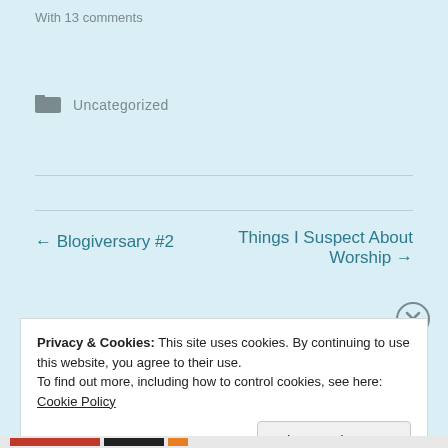With 13 comments
[Figure (other): Folder icon next to category label]
Uncategorized
← Blogiversary #2
Things I Suspect About Worship →
Privacy & Cookies: This site uses cookies. By continuing to use this website, you agree to their use.
To find out more, including how to control cookies, see here: Cookie Policy
Close and accept